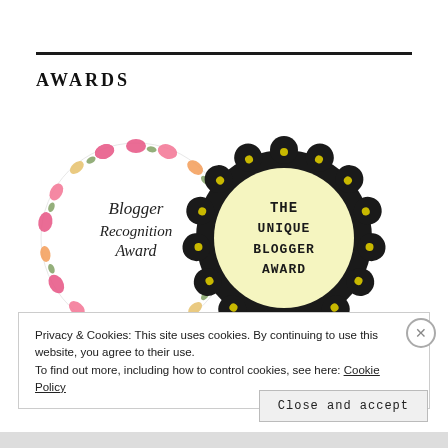AWARDS
[Figure (illustration): Two circular blogger award badges side by side. Left badge: 'Blogger Recognition Award' in cursive script on white background, surrounded by a floral wreath of pink and orange flowers with green leaves. Right badge: 'THE UNIQUE BLOGGER AWARD' in bold typewriter-style text on pale yellow background, surrounded by a dark scalloped border with small yellow flowers.]
Privacy & Cookies: This site uses cookies. By continuing to use this website, you agree to their use.
To find out more, including how to control cookies, see here: Cookie Policy
Close and accept